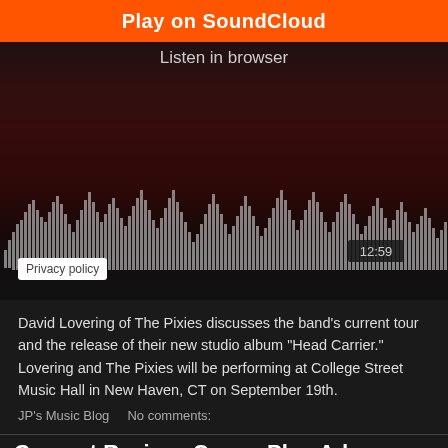[Figure (screenshot): SoundCloud embedded player widget showing 'Play on SoundCloud' orange button, 'Listen in browser' link, a dark photo of people seated in red chairs, an audio waveform visualization showing approximately 12:59 duration, and a 'Privacy policy' button]
David Lovering of The Pixies discusses the band's current tour and the release of their new studio album "Head Carrier." Lovering and The Pixies will be performing at College Street Music Hall in New Haven, CT on September 19th.
JP's Music Blog    No comments:
Concert Review: Queen Plus Adam Lambert Equals Success At Mohegan